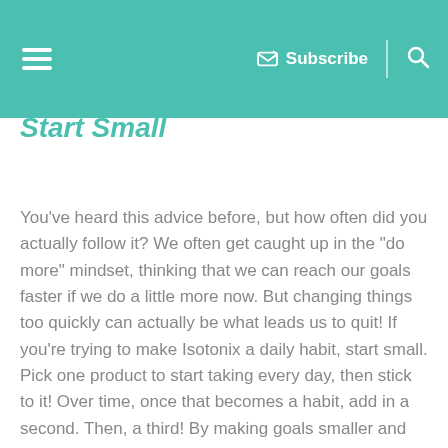Subscribe
Start Small
You've heard this advice before, but how often did you actually follow it? We often get caught up in the “do more” mindset, thinking that we can reach our goals faster if we do a little more now. But changing things too quickly can actually be what leads us to quit! If you’re trying to make Isotonix a daily habit, start small. Pick one product to start taking every day, then stick to it! Over time, once that becomes a habit, add in a second. Then, a third! By making goals smaller and achieving them, we help rewire our brains to want to keep doing what brings success.